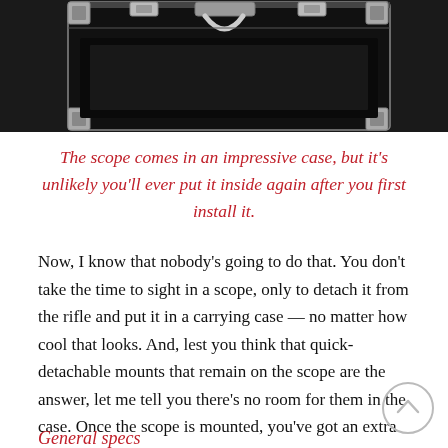[Figure (photo): Black hard-shell carrying case with metal corner brackets, silver clasps, and a center handle, viewed from above, upper portion visible]
The scope comes in an impressive case, but it’s unlikely you’ll ever put it inside again after you first install it.
Now, I know that nobody’s going to do that. You don’t take the time to sight in a scope, only to detach it from the rifle and put it in a carrying case — no matter how cool that looks. And, lest you think that quick-detachable mounts that remain on the scope are the answer, let me tell you there’s no room for them in the case. Once the scope is mounted, you’ve got an extra case for carrying your airgun stuff.
General specs